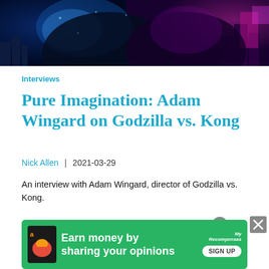[Figure (photo): Dark moody image of two giant monsters (Godzilla and Kong) in a neon-lit cityscape with blue and purple lighting]
Interviews
Pure Imagination: Adam Wingard on Godzilla vs. Kong
Nick Allen  |  2021-03-29
An interview with Adam Wingard, director of Godzilla vs. Kong.
[Figure (photo): Bottom portion of image showing a person with reddish-blonde hair against a green background]
[Figure (other): Advertisement banner: Earn money by sharing your opinions - Amazon/MyRecompensas - SIGN UP button]